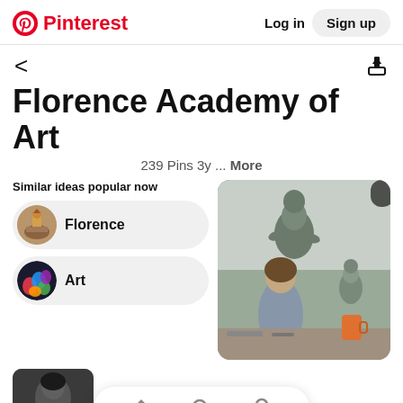Pinterest | Log in | Sign up
Florence Academy of Art
239 Pins 3y ... More
Similar ideas popular now
Florence
Art
[Figure (photo): A woman sculptor working on a clay figure in an art studio, with another small clay figure in the background.]